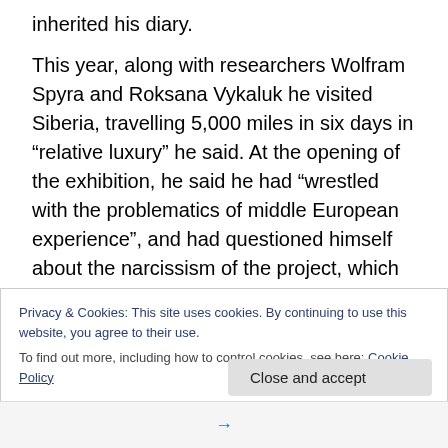inherited his diary.
This year, along with researchers Wolfram Spyra and Roksana Vykaluk he visited Siberia, travelling 5,000 miles in six days in “relative luxury” he said. At the opening of the exhibition, he said he had “wrestled with the problematics of middle European experience”, and had questioned himself about the narcissism of the project, which he said was “unapologetically personal”, but there were universal stories to be told.
The exhibition includes various works from the trip. There is a film of the landscape, some of it industrial, from the
Privacy & Cookies: This site uses cookies. By continuing to use this website, you agree to their use.
To find out more, including how to control cookies, see here: Cookie Policy
Close and accept